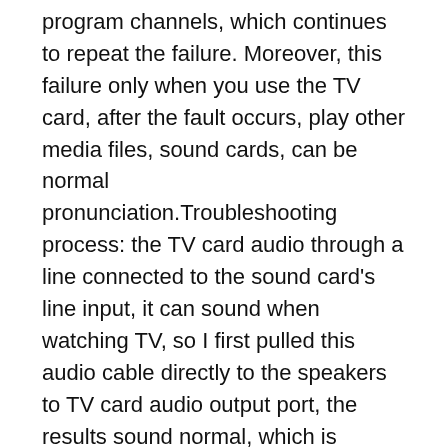program channels, which continues to repeat the failure. Moreover, this failure only when you use the TV card, after the fault occurs, play other media files, sound cards, can be normal pronunciation.Troubleshooting process: the TV card audio through a line connected to the sound card's line input, it can sound when watching TV, so I first pulled this audio cable directly to the speakers to TV card audio output port, the results sound normal, which is excluded from the TV card's sound output problems, but after replacing the cable, the problem still remains.
Therefore, I determine a computer's sound card out of the question. As silent watching TV after a fault occurs, the computer plays other multimedia files, sound cards can be a normal voice, so I suspect the sound card drivers and TV card driver conflict, but in my sound card drivers to the